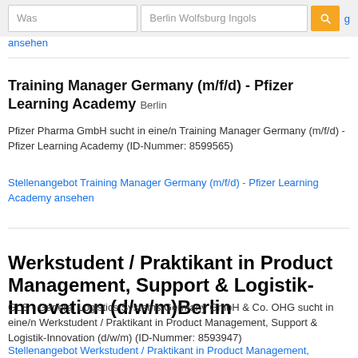[Figure (screenshot): Search bar with 'Was' input field, 'Berlin Wolfsburg Ingols' location field, and orange search button]
ansehen
Training Manager Germany (m/f/d) - Pfizer Learning Academy Berlin
Pfizer Pharma GmbH sucht in eine/n Training Manager Germany (m/f/d) - Pfizer Learning Academy (ID-Nummer: 8599565)
Stellenangebot Training Manager Germany (m/f/d) - Pfizer Learning Academy ansehen
Werkstudent / Praktikant in Product Management, Support & Logistik-Innovation (d/w/m) Berlin
GLS - General Logistics Systems Germany GmbH & Co. OHG sucht in eine/n Werkstudent / Praktikant in Product Management, Support & Logistik-Innovation (d/w/m) (ID-Nummer: 8593947)
Stellenangebot Werkstudent / Praktikant in Product Management,